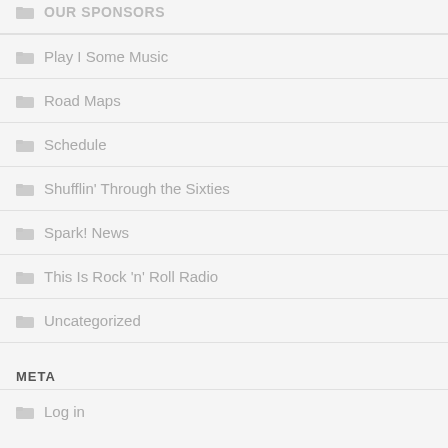OUR SPONSORS
Play I Some Music
Road Maps
Schedule
Shufflin' Through the Sixties
Spark! News
This Is Rock 'n' Roll Radio
Uncategorized
META
Log in